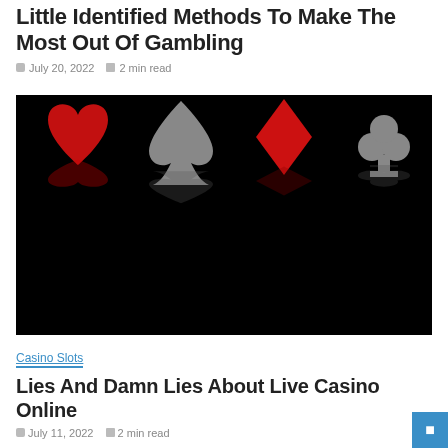Little Identified Methods To Make The Most Out Of Gambling
July 20, 2022  2 min read
[Figure (photo): Dark background image showing four card suit symbols: red heart, grey spade, red diamond, grey club, each with reflections below on a shiny black surface.]
Casino Slots
Lies And Damn Lies About Live Casino Online
July 11, 2022  2 min read